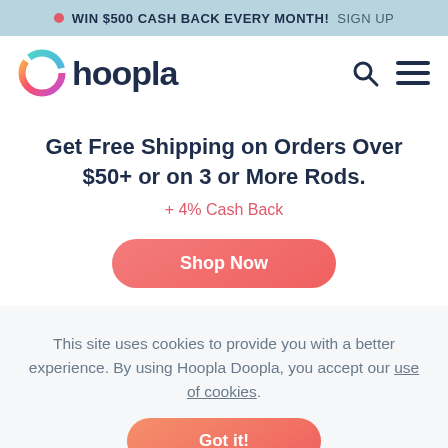● WIN $500 CASH BACK EVERY MONTH! SIGN UP
[Figure (logo): Hoopla logo with colorful ring icon and dark blue 'hoopla' wordmark, search icon and hamburger menu icon on right]
Get Free Shipping on Orders Over $50+ or on 3 or More Rods.
+ 4% Cash Back
[Figure (other): Salmon/coral rounded button labeled 'Shop Now']
This site uses cookies to provide you with a better experience. By using Hoopla Doopla, you accept our use of cookies.
[Figure (other): Coral/orange rounded button labeled 'Got it!']